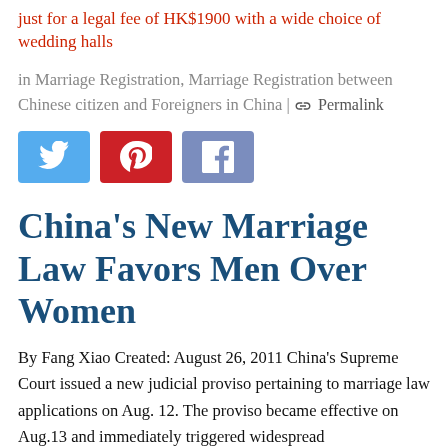just for a legal fee of HK$1900 with a wide choice of wedding halls
in Marriage Registration, Marriage Registration between Chinese citizen and Foreigners in China | Permalink
[Figure (other): Social sharing buttons: Twitter (blue), Pinterest (red), Facebook (purple)]
China's New Marriage Law Favors Men Over Women
By Fang Xiao Created: August 26, 2011 China's Supreme Court issued a new judicial proviso pertaining to marriage law applications on Aug. 12. The proviso became effective on Aug.13 and immediately triggered widespread